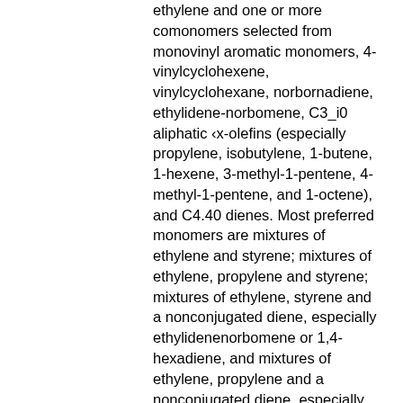ethylene and one or more comonomers selected from monovinyl aromatic monomers, 4-vinylcyclohexene, vinylcyclohexane, norbornadiene, ethylidene-norbomene, C3_i0 aliphatic ‹x-olefins (especially propylene, isobutylene, 1-butene, 1-hexene, 3-methyl-1-pentene, 4-methyl-1-pentene, and 1-octene), and C4.40 dienes. Most preferred monomers are mixtures of ethylene and styrene; mixtures of ethylene, propylene and styrene; mixtures of ethylene, styrene and a nonconjugated diene, especially ethylidenenorbomene or 1,4-hexadiene, and mixtures of ethylene, propylene and a nonconjugated diene, especially ethylidenenorbomene or 1,4-hexadiene. In general, the polymerization may be accomplished at conditions well known in the prior art for Ziegier-Natta or Kaminsky-Sinn type polymerization reactions, that is, temperatures from O-25O°C, preferably 30 to 2OO°C and pressures from atmospheric to 10,000 atmospheres. Suspension, solution, slurry, gas phase, solid state powder polymerization or other process condition may be employed if desired. A support, especially silica, alumina, or a polymer (especially